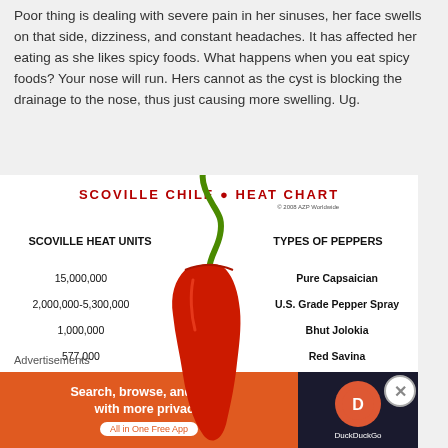Poor thing is dealing with severe pain in her sinuses, her face swells on that side, dizziness, and constant headaches. It has affected her eating as she likes spicy foods. What happens when you eat spicy foods? Your nose will run. Hers cannot as the cyst is blocking the drainage to the nose, thus just causing more swelling. Ug.
[Figure (infographic): Scoville Chile Heat Chart infographic showing a large red chili pepper with two columns: Scoville Heat Units on the left and Types of Peppers on the right. Values listed: 15,000,000 - Pure Capsaician; 2,000,000-5,300,000 - U.S. Grade Pepper Spray; 1,000,000 - Bhut Jolokia; 577,000 - Red Savina; 200,000-350,000 - Habanero. Copyright 2008 AZP Worldwide.]
Advertisements
[Figure (screenshot): DuckDuckGo advertisement banner: Search, browse, and email with more privacy. All in One Free App. DuckDuckGo logo on dark background.]